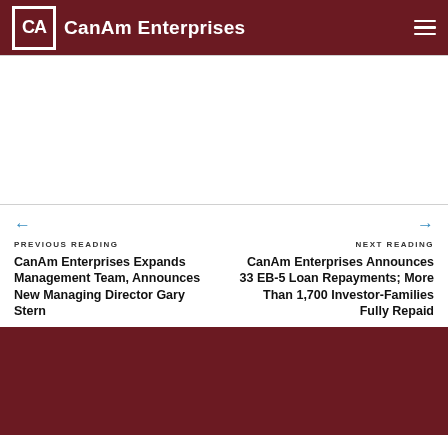CanAm Enterprises
← PREVIOUS READING
CanAm Enterprises Expands Management Team, Announces New Managing Director Gary Stern
→ NEXT READING
CanAm Enterprises Announces 33 EB-5 Loan Repayments; More Than 1,700 Investor-Families Fully Repaid